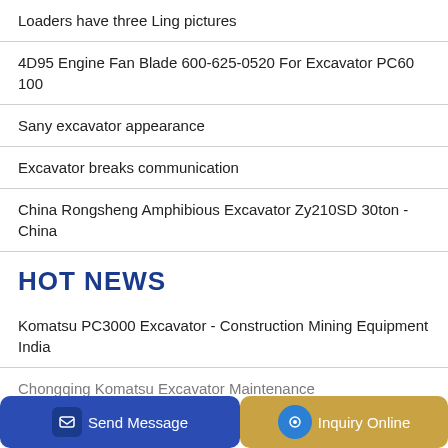Loaders have three Ling pictures
4D95 Engine Fan Blade 600-625-0520 For Excavator PC60 100
Sany excavator appearance
Excavator breaks communication
China Rongsheng Amphibious Excavator Zy210SD 30ton - China
HOT NEWS
Komatsu PC3000 Excavator - Construction Mining Equipment India
Chongqing Komatsu Excavator Maintenance